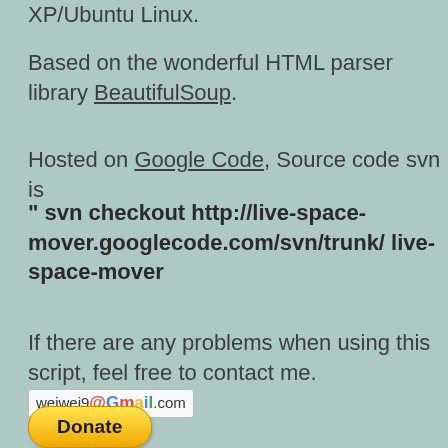XP/Ubuntu Linux.
Based on the wonderful HTML parser library BeautifulSoup.
Hosted on Google Code, Source code svn is
" svn checkout http://live-space-mover.googlecode.com/svn/trunk/ live-space-mover
If there are any problems when using this script, feel free to contact me. weiwei9@Gmail.com
[Figure (other): Donate button (PayPal yellow rounded rectangle)]